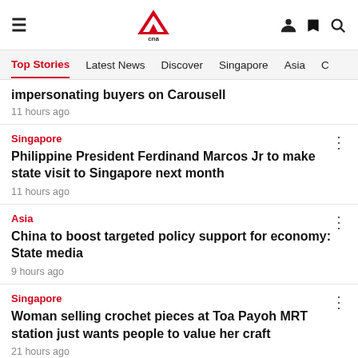CNA navigation header with hamburger menu, CNA logo, and icons
Top Stories | Latest News | Discover | Singapore | Asia | C
impersonating buyers on Carousell
11 hours ago
Singapore
Philippine President Ferdinand Marcos Jr to make state visit to Singapore next month
11 hours ago
Asia
China to boost targeted policy support for economy: State media
9 hours ago
Singapore
Woman selling crochet pieces at Toa Payoh MRT station just wants people to value her craft
21 hours ago